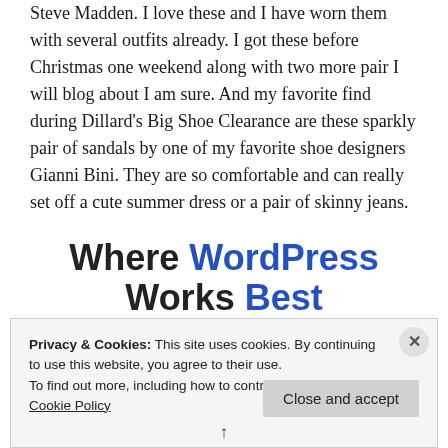Steve Madden. I love these and I have worn them with several outfits already. I got these before Christmas one weekend along with two more pair I will blog about I am sure. And my favorite find during Dillard's Big Shoe Clearance are these sparkly pair of sandals by one of my favorite shoe designers Gianni Bini. They are so comfortable and can really set off a cute summer dress or a pair of skinny jeans.
[Figure (other): WordPress promotional banner text: 'Where WordPress Works Best' with 'WordPress' and 'Best' in blue bold text]
Privacy & Cookies: This site uses cookies. By continuing to use this website, you agree to their use.
To find out more, including how to control cookies, see here: Cookie Policy
Close and accept